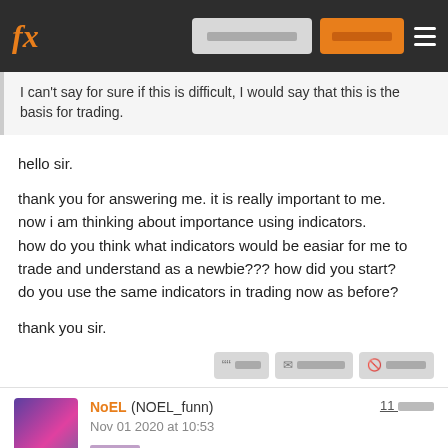fx [nav bar with redacted buttons]
I can't say for sure if this is difficult, I would say that this is the basis for trading.
hello sir.

thank you for answering me. it is really important to me.
now i am thinking about importance using indicators.
how do you think what indicators would be easiar for me to trade and understand as a newbie??? how did you start?
do you use the same indicators in trading now as before?

thank you sir.
NoEL (NOEL_funn)
Nov 01 2020 at 10:53